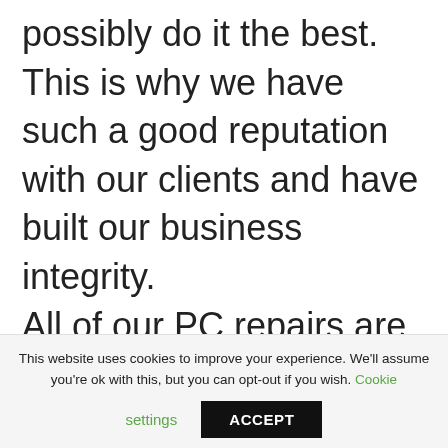possibly do it the best. This is why we have such a good reputation with our clients and have built our business integrity. All of our PC repairs are done on-site. We never send your Computer away to be repaired
This website uses cookies to improve your experience. We'll assume you're ok with this, but you can opt-out if you wish. Cookie settings ACCEPT